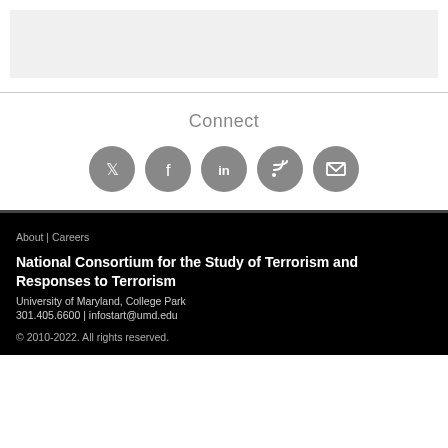[Figure (other): Gray placeholder content box at top]
Connect
[Figure (infographic): Five social media icon circles: Twitter, Facebook, LinkedIn, RSS feed, Email]
About | Careers
National Consortium for the Study of Terrorism and Responses to Terrorism
University of Maryland, College Park
301.405.6600 | infostart@umd.edu
© 2010-2022. All rights reserved.